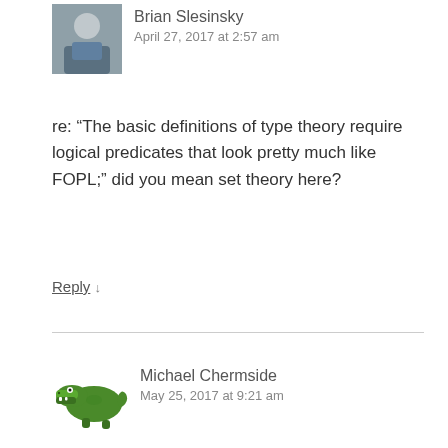[Figure (photo): Avatar photo of Brian Slesinsky, a man in a blue shirt]
Brian Slesinsky
April 27, 2017 at 2:57 am
re: “The basic definitions of type theory require logical predicates that look pretty much like FOPL;” did you mean set theory here?
Reply ↓
[Figure (illustration): Cartoon crocodile avatar (green, side profile facing right)]
Michael Chermside
May 25, 2017 at 9:21 am
Minor typo: “can determine whether or no the predicate is true for that object” should be “can determine whether or not the predicate is true for that object” (“no” -> “not”).
Reply ↓